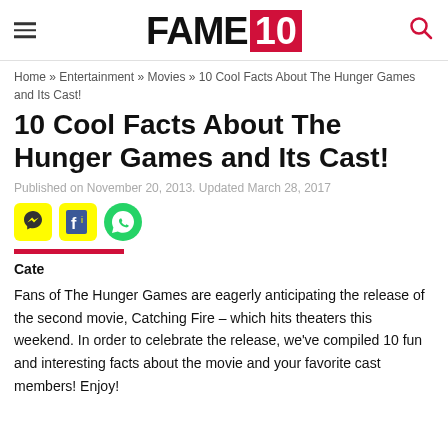FAME10
Home » Entertainment » Movies » 10 Cool Facts About The Hunger Games and Its Cast!
10 Cool Facts About The Hunger Games and Its Cast!
Published on November 20, 2013. Updated March 28, 2017
[Figure (other): Social sharing icons: Snapchat, Facebook, WhatsApp]
Cate
Fans of The Hunger Games are eagerly anticipating the release of the second movie, Catching Fire – which hits theaters this weekend. In order to celebrate the release, we've compiled 10 fun and interesting facts about the movie and your favorite cast members! Enjoy!